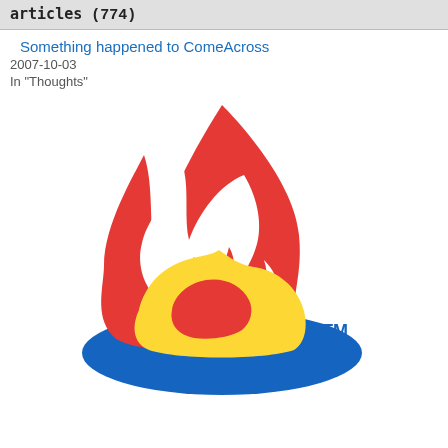articles (774)
Something happened to ComeAcross
2007-10-03
In "Thoughts"
[Figure (logo): Feedburner flame logo: a large red flame shape with a white negative space flame inside, a yellow crescent/bowl shape at the base, a blue ellipse at the bottom, and a small 'TM' trademark symbol in blue to the right.]